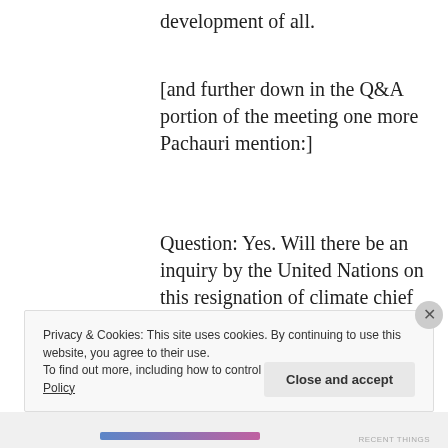development of all.
[and further down in the Q&A portion of the meeting one more Pachauri mention:]
Question: Yes. Will there be an inquiry by the United Nations on this resignation of climate chief who just resigned this morning?
Privacy & Cookies: This site uses cookies. By continuing to use this website, you agree to their use.
To find out more, including how to control cookies, see here: Cookie Policy
Close and accept